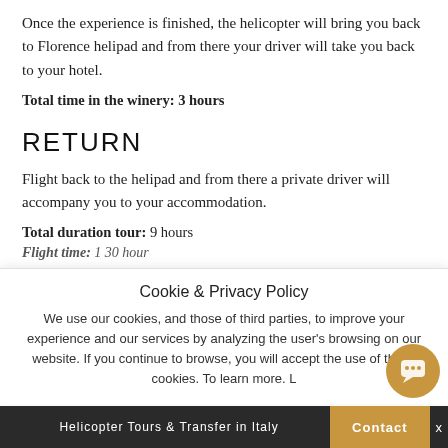Once the experience is finished, the helicopter will bring you back to Florence helipad and from there your driver will take you back to your hotel.
Total time in the winery: 3 hours
RETURN
Flight back to the helipad and from there a private driver will accompany you to your accommodation.
Total duration tour: 9 hours
Flight time: 1 30 hour
Cookie & Privacy Policy
We use our cookies, and those of third parties, to improve your experience and our services by analyzing the user's browsing on our website. If you continue to browse, you will accept the use of these cookies. To learn more. L
Helicopter Tours & Transfer in Italy   Contact